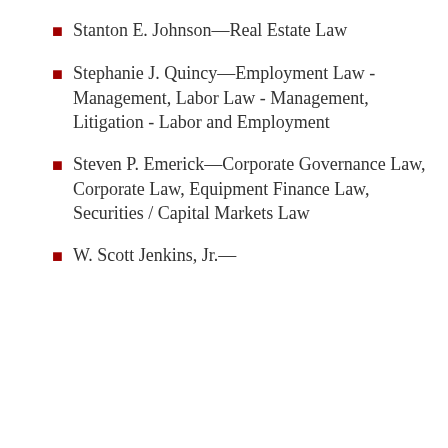Stanton E. Johnson—Real Estate Law
Stephanie J. Quincy—Employment Law - Management, Labor Law - Management, Litigation - Labor and Employment
Steven P. Emerick—Corporate Governance Law, Corporate Law, Equipment Finance Law, Securities / Capital Markets Law
W. Scott Jenkins, Jr.—